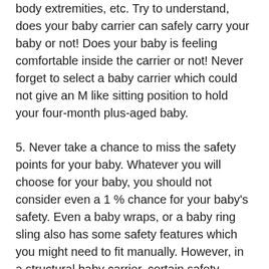body extremities, etc. Try to understand, does your baby carrier can safely carry your baby or not! Does your baby is feeling comfortable inside the carrier or not! Never forget to select a baby carrier which could not give an M like sitting position to hold your four-month plus-aged baby.
5. Never take a chance to miss the safety points for your baby. Whatever you will choose for your baby, you should not consider even a 1 % chance for your baby's safety. Even a baby wraps, or a baby ring sling also has some safety features which you might need to fit manually. However, in a structural baby carrier, certain safety accessories are very good to carry your baby if you can properly utilize them. However, your baby supposed to securely tighten inside the carrier (either in a cuddle or in arms). Once you have kept your baby inside the carrier, follow whether your